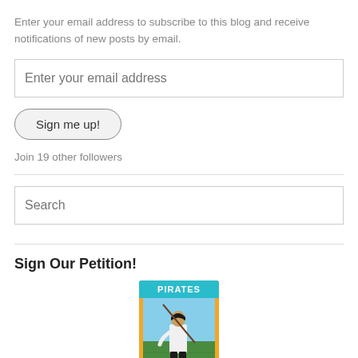Enter your email address to subscribe to this blog and receive notifications of new posts by email.
[Figure (screenshot): Email input field placeholder showing 'Enter your email address']
[Figure (screenshot): Button labeled 'Sign me up!' with rounded border]
Join 19 other followers
[Figure (screenshot): Search input field with placeholder text 'Search']
Sign Our Petition!
[Figure (photo): Pittsburgh Pirates baseball card showing a player in white uniform on a green field with orange border and teal/cyan top band reading PIRATES]